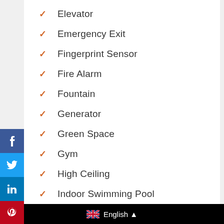Elevator
Emergency Exit
Fingerprint Sensor
Fire Alarm
Fountain
Generator
Green Space
Gym
High Ceiling
Indoor Swimming Pool
English